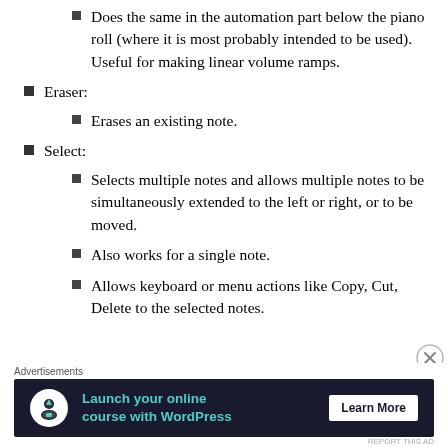Does the same in the automation part below the piano roll (where it is most probably intended to be used). Useful for making linear volume ramps.
Eraser:
Erases an existing note.
Select:
Selects multiple notes and allows multiple notes to be simultaneously extended to the left or right, or to be moved.
Also works for a single note.
Allows keyboard or menu actions like Copy, Cut, Delete to the selected notes.
Advertisements
[Figure (infographic): Advertisement banner: dark background with teal text 'Launch your online course with WordPress' and 'Learn More' button, with a white circular icon.]